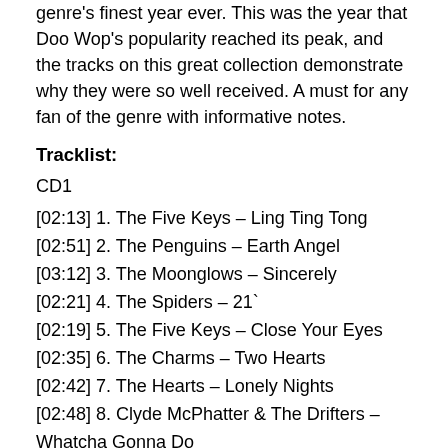genre's finest year ever. This was the year that Doo Wop's popularity reached its peak, and the tracks on this great collection demonstrate why they were so well received. A must for any fan of the genre with informative notes.
Tracklist:
CD1
[02:13] 1. The Five Keys – Ling Ting Tong
[02:51] 2. The Penguins – Earth Angel
[03:12] 3. The Moonglows – Sincerely
[02:21] 4. The Spiders – 21`
[02:19] 5. The Five Keys – Close Your Eyes
[02:35] 6. The Charms – Two Hearts
[02:42] 7. The Hearts – Lonely Nights
[02:48] 8. Clyde McPhatter & The Drifters – Whatcha Gonna Do